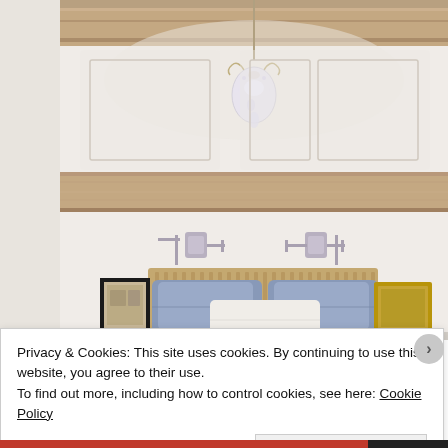[Figure (photo): Interior bedroom photo showing a white room with exposed wooden ceiling beam, ornate crystal chandelier hanging from the beam, white paneled walls, wall sconces on either side of the headboard area, a bed with a natural woven headboard and blue/grey pillows, framed artwork on bedside surfaces.]
Privacy & Cookies: This site uses cookies. By continuing to use this website, you agree to their use.
To find out more, including how to control cookies, see here: Cookie Policy
Close and accept